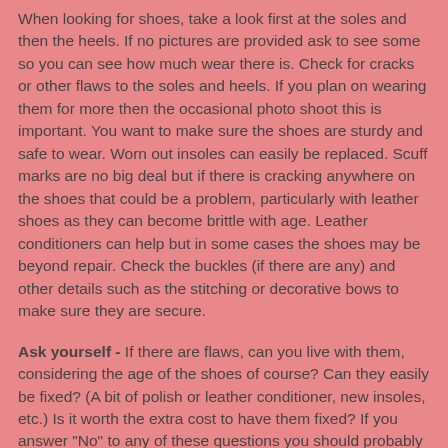When looking for shoes, take a look first at the soles and then the heels. If no pictures are provided ask to see some so you can see how much wear there is. Check for cracks or other flaws to the soles and heels. If you plan on wearing them for more then the occasional photo shoot this is important. You want to make sure the shoes are sturdy and safe to wear. Worn out insoles can easily be replaced. Scuff marks are no big deal but if there is cracking anywhere on the shoes that could be a problem, particularly with leather shoes as they can become brittle with age. Leather conditioners can help but in some cases the shoes may be beyond repair. Check the buckles (if there are any) and other details such as the stitching or decorative bows to make sure they are secure.
Ask yourself - If there are flaws, can you live with them, considering the age of the shoes of course? Can they easily be fixed? (A bit of polish or leather conditioner, new insoles, etc.) Is it worth the extra cost to have them fixed? If you answer "No" to any of these questions you should probably keep looking.
When in doubt, ask for help!